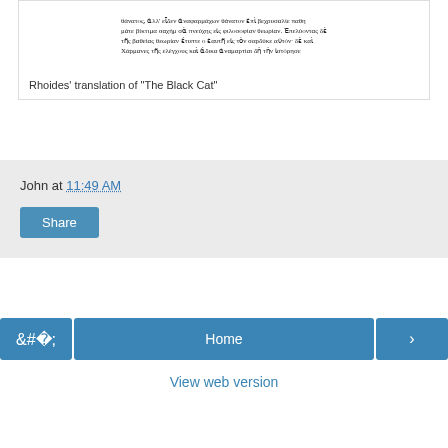[Figure (screenshot): Scanned Greek text from a manuscript or printed book — Rhoides' translation of The Black Cat]
Rhoides' translation of "The Black Cat"
John at 11:49 AM
Share
< Home >
View web version